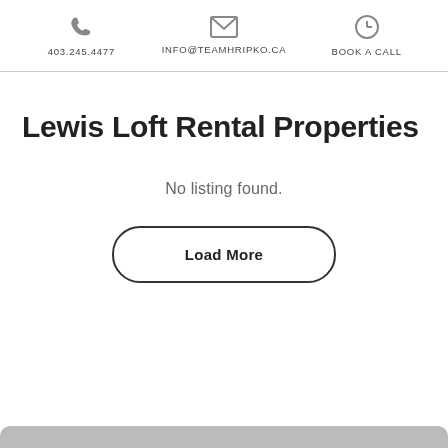403.245.4477  |  INFO@TEAMHRIPKO.CA  |  BOOK A CALL
Lewis Loft Rental Properties
No listing found.
Load More